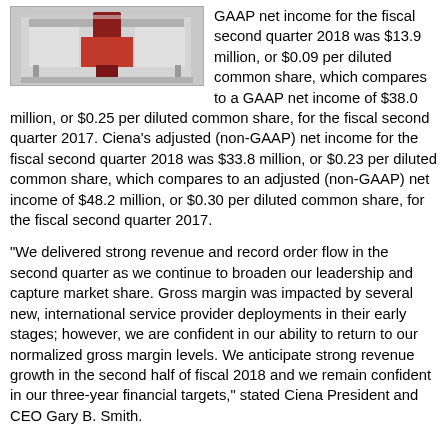[Figure (photo): Photo of a Ciena trade show booth or display structure with red and white branding elements.]
GAAP net income for the fiscal second quarter 2018 was $13.9 million, or $0.09 per diluted common share, which compares to a GAAP net income of $38.0 million, or $0.25 per diluted common share, for the fiscal second quarter 2017. Ciena's adjusted (non-GAAP) net income for the fiscal second quarter 2018 was $33.8 million, or $0.23 per diluted common share, which compares to an adjusted (non-GAAP) net income of $48.2 million, or $0.30 per diluted common share, for the fiscal second quarter 2017.
"We delivered strong revenue and record order flow in the second quarter as we continue to broaden our leadership and capture market share. Gross margin was impacted by several new, international service provider deployments in their early stages; however, we are confident in our ability to return to our normalized gross margin levels. We anticipate strong revenue growth in the second half of fiscal 2018 and we remain confident in our three-year financial targets," stated Ciena President and CEO Gary B. Smith.